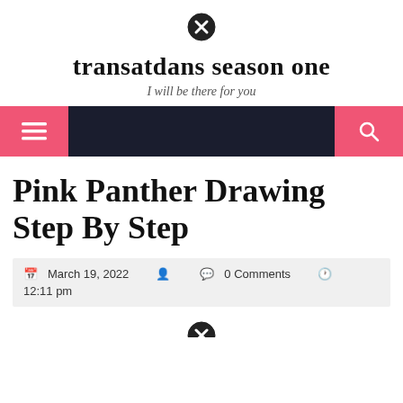[Figure (other): Close/cancel icon (circle with X) at top center of page]
transatdans season one
I will be there for you
[Figure (other): Navigation bar with dark background, pink hamburger menu button on left, pink search button on right]
Pink Panther Drawing Step By Step
March 19, 2022  0 Comments  12:11 pm
[Figure (other): Partial close/cancel icon visible at bottom of page]